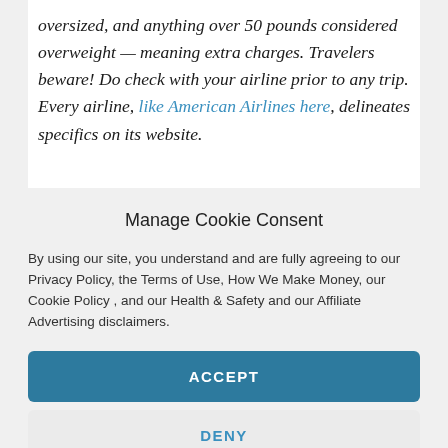oversized, and anything over 50 pounds considered overweight — meaning extra charges. Travelers beware! Do check with your airline prior to any trip. Every airline, like American Airlines here, delineates specifics on its website.
Manage Cookie Consent
By using our site, you understand and are fully agreeing to our Privacy Policy, the Terms of Use, How We Make Money, our Cookie Policy , and our Health & Safety and our Affiliate Advertising disclaimers.
ACCEPT
DENY
PREFERENCES